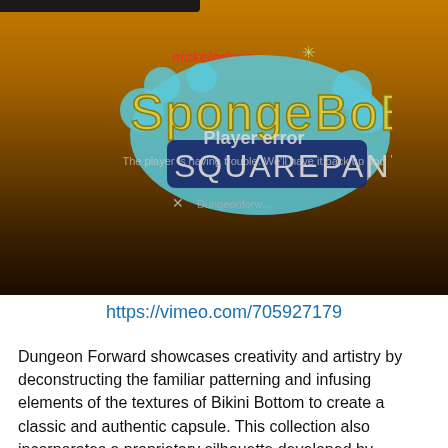[Figure (screenshot): Video player showing SpongeBob SquarePants Nickelodeon logo on an orange-to-dark background, with a 'Player error' overlay message reading 'The player is having trouble. We'll have it back up and' and a Dungeon Forward watermark in the bottom right corner.]
https://vimeo.com/705927179
Dungeon Forward showcases creativity and artistry by deconstructing the familiar patterning and infusing elements of the textures of Bikini Bottom to create a classic and authentic capsule. This collection also incorporates a proprietary silhouette developed by Dungeon Forward. The Sunika Kuraun Low Top. Sunika Kuraun means sneaker